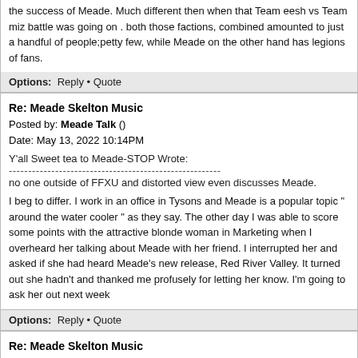the success of Meade. Much different then when that Team eesh vs Team miz battle was going on . both those factions, combined amounted to just a handful of people;petty few, while Meade on the other hand has legions of fans.
Options: Reply • Quote
Re: Meade Skelton Music
Posted by: Meade Talk ()
Date: May 13, 2022 10:14PM
Y'all Sweet tea to Meade-STOP Wrote:
-------------------------------------------------------
no one outside of FFXU and distorted view even discusses Meade.
I beg to differ. I work in an office in Tysons and Meade is a popular topic " around the water cooler " as they say. The other day I was able to score some points with the attractive blonde woman in Marketing when I overheard her talking about Meade with her friend. I interrupted her and asked if she had heard Meade's new release, Red River Valley. It turned out she hadn't and thanked me profusely for letting her know. I'm going to ask her out next week
Options: Reply • Quote
Re: Meade Skelton Music
Posted by: I've heard that ()
Date: May 13, 2022 10:31PM
Meade Talk Wrote: